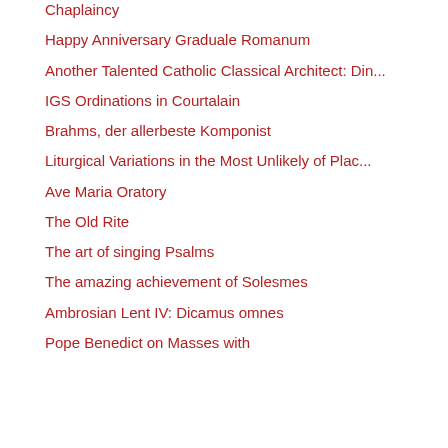Chaplaincy
Happy Anniversary Graduale Romanum
Another Talented Catholic Classical Architect: Din...
IGS Ordinations in Courtalain
Brahms, der allerbeste Komponist
Liturgical Variations in the Most Unlikely of Plac...
Ave Maria Oratory
The Old Rite
The art of singing Psalms
The amazing achievement of Solesmes
Ambrosian Lent IV: Dicamus omnes
Pope Benedict on Masses with